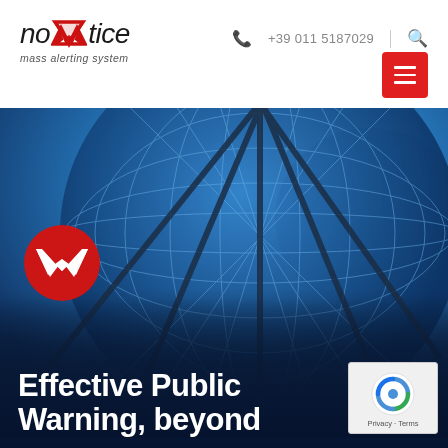[Figure (logo): noWtice mass alerting system logo with red W emblem]
+39 011 5187029
[Figure (photo): Blue-toned close-up photograph of a globe/satellite dish structure with grid pattern, dark blue background]
[Figure (logo): Red circle badge with white W chevron logo]
Effective Public Warning, beyond
[Figure (screenshot): reCAPTCHA widget with Privacy and Terms links]